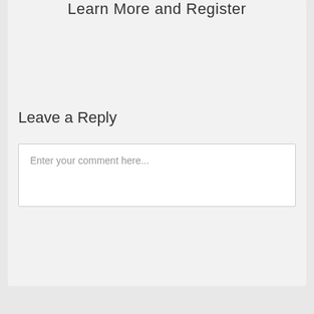Learn More and Register
Leave a Reply
Enter your comment here...